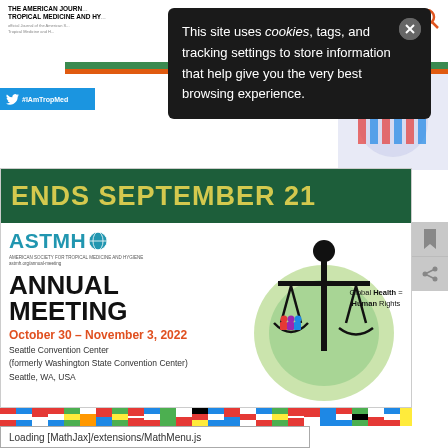[Figure (screenshot): Screenshot of The American Journal of Tropical Medicine and Hygiene website with a cookie consent banner overlay, showing ASTMH Annual Meeting advertisement]
This site uses cookies, tags, and tracking settings to store information that help give you the very best browsing experience.
[Figure (infographic): ASTMH Annual Meeting banner: ENDS SEPTEMBER 21, ASTMH logo, ANNUAL MEETING, October 30 – November 3, 2022, Seattle Convention Center (formerly Washington State Convention Center), Seattle, WA, USA, Global Health = Human Rights with scales of justice graphic]
Loading [MathJax]/extensions/MathMenu.js